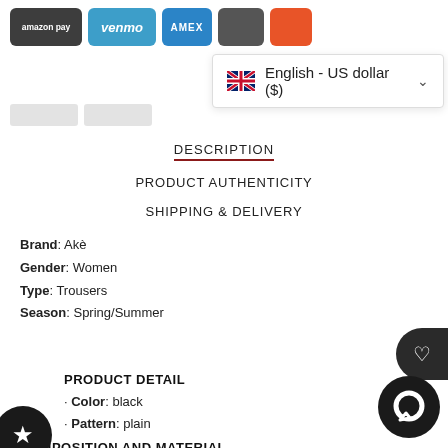[Figure (screenshot): Payment method icons: amazon pay, venmo, AMEX, Apple Pay, Mastercard, Visa (partially visible)]
[Figure (screenshot): Language/currency dropdown overlay showing English - US dollar ($) with UK flag and dropdown arrow]
DESCRIPTION
PRODUCT AUTHENTICITY
SHIPPING & DELIVERY
Brand: Akè
Gender: Women
Type: Trousers
Season: Spring/Summer
PRODUCT DETAIL
· Color: black
· Pattern: plain
COMPOSITION AND MATERIAL
· Composition: -5% lycra -95% polyester
· Washing: machine wash at 30°